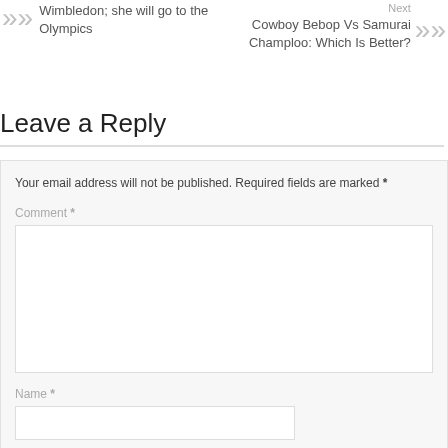Wimbledon; she will go to the Olympics
Next
Cowboy Bebop Vs Samurai Champloo: Which Is Better?
Leave a Reply
Your email address will not be published. Required fields are marked *
Comment *
Name *
Email *